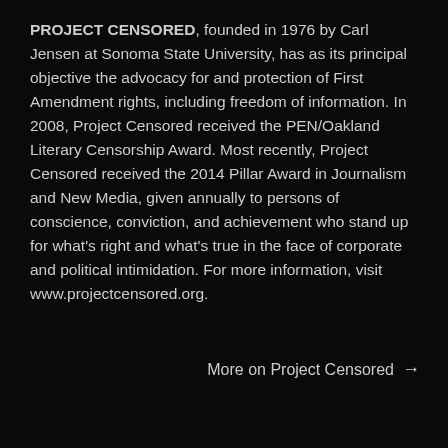PROJECT CENSORED, founded in 1976 by Carl Jensen at Sonoma State University, has as its principal objective the advocacy for and protection of First Amendment rights, including freedom of information. In 2008, Project Censored received the PEN/Oakland Literary Censorship Award. Most recently, Project Censored received the 2014 Pillar Award in Journalism and New Media, given annually to persons of conscience, conviction, and achievement who stand up for what's right and what's true in the face of corporate and political intimidation. For more information, visit www.projectcensored.org.
More on Project Censored →